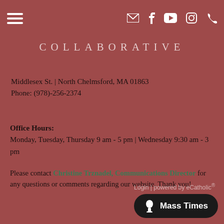COLLABORATIVE
Middlesex St. | North Chelmsford, MA 01863
Phone: (978)-256-2374
Office Hours:
Monday, Tuesday, Thursday 9 am - 5 pm | Wednesday 9:30 am - 3 pm
Please contact Christine Trznadel, Communications Director for any questions or comments regarding our website. Thank you!
Login | powered by eCatholic®